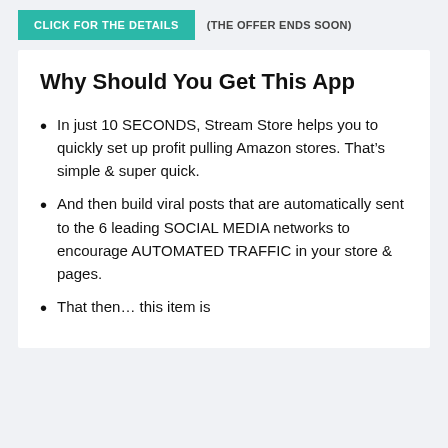[Figure (other): Teal button labeled 'CLICK FOR THE DETAILS' with text '(THE OFFER ENDS SOON)' beside it]
Why Should You Get This App
In just 10 SECONDS, Stream Store helps you to quickly set up profit pulling Amazon stores. That’s simple & super quick.
And then build viral posts that are automatically sent to the 6 leading SOCIAL MEDIA networks to encourage AUTOMATED TRAFFIC in your store & pages.
That then… this item is cut off at bottom of page